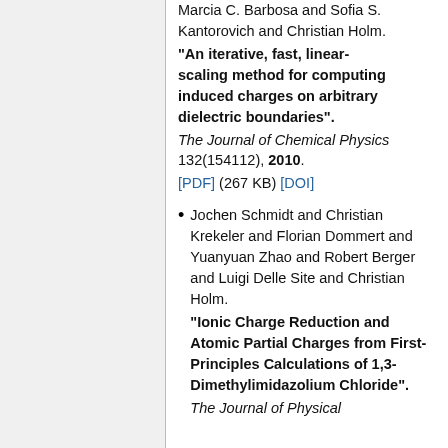Marcia C. Barbosa and Sofia S. Kantorovich and Christian Holm. "An iterative, fast, linear-scaling method for computing induced charges on arbitrary dielectric boundaries". The Journal of Chemical Physics 132(154112), 2010. [PDF] (267 KB) [DOI]
Jochen Schmidt and Christian Krekeler and Florian Dommert and Yuanyuan Zhao and Robert Berger and Luigi Delle Site and Christian Holm. "Ionic Charge Reduction and Atomic Partial Charges from First-Principles Calculations of 1,3-Dimethylimidazolium Chloride". The Journal of Physical